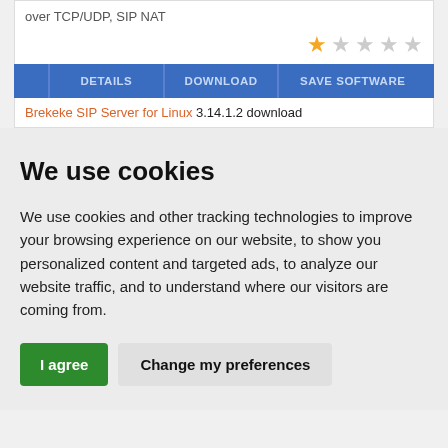over TCP/UDP, SIP NAT
[Figure (other): Star rating: 1 out of 5 stars (one filled gold star, four empty stars)]
[Figure (other): Button bar with three buttons: DETAILS, DOWNLOAD, SAVE SOFTWARE on blue background]
Brekeke SIP Server for Linux 3.14.1.2 download
We use cookies
We use cookies and other tracking technologies to improve your browsing experience on our website, to show you personalized content and targeted ads, to analyze our website traffic, and to understand where our visitors are coming from.
I agree | Change my preferences